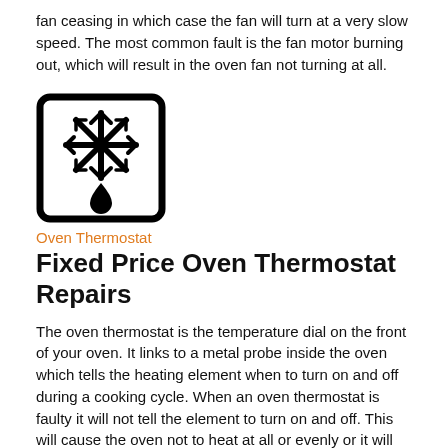fan ceasing in which case the fan will turn at a very slow speed. The most common fault is the fan motor burning out, which will result in the oven fan not turning at all.
[Figure (illustration): Black and white icon of a snowflake with a water drop below it, inside a rounded rectangle border, representing an oven thermostat symbol.]
Oven Thermostat
Fixed Price Oven Thermostat Repairs
The oven thermostat is the temperature dial on the front of your oven. It links to a metal probe inside the oven which tells the heating element when to turn on and off during a cooking cycle. When an oven thermostat is faulty it will not tell the element to turn on and off. This will cause the oven not to heat at all or evenly or it will cause the oven not to heat at all.